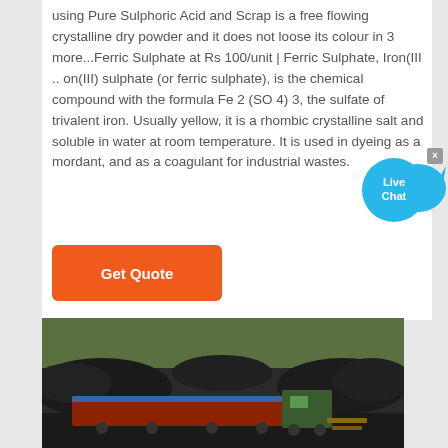using Pure Sulphoric Acid and Scrap is a free flowing crystalline dry powder and it does not loose its colour in 3 more...Ferric Sulphate at Rs 100/unit | Ferric Sulphate, Iron(III .. on(III) sulphate (or ferric sulphate), is the chemical compound with the formula Fe 2 (SO 4) 3, the sulfate of trivalent iron. Usually yellow, it is a rhombic crystalline salt and soluble in water at room temperature. It is used in dyeing as a mordant, and as a coagulant for industrial wastes.
[Figure (illustration): Live Chat speech bubble widget with blue circular bubble showing 'Live Chat' text and a close button (x)]
[Figure (photo): Photograph of large piles of dark coal/ore material outdoors with a red and blue freight/rail car and a truck or vehicle visible in the middle ground, with trees in the background.]